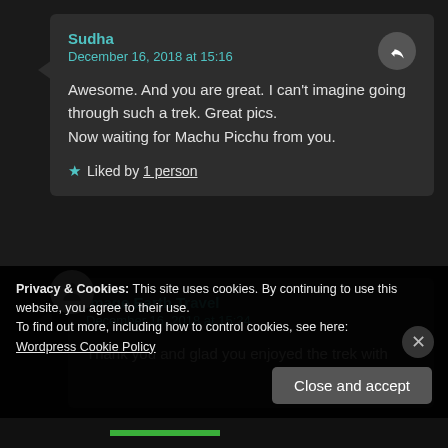Sudha
December 16, 2018 at 15:16

Awesome. And you are great. I can't imagine going through such a trek. Great pics.
Now waiting for Machu Picchu from you.

★ Liked by 1 person
Image Earth Travel
December 16, 2018 at 15:24

Thank you and glad you enjoyed the trek with
Privacy & Cookies: This site uses cookies. By continuing to use this website, you agree to their use.
To find out more, including how to control cookies, see here:
Wordpress Cookie Policy
Close and accept